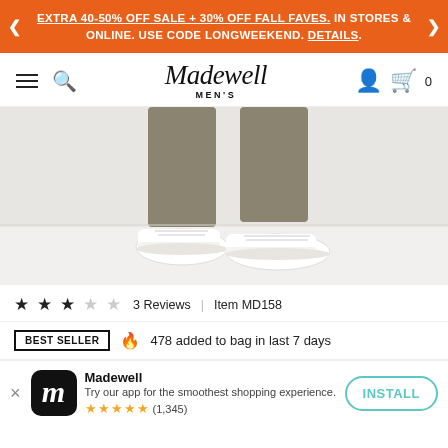EXTRA 40-50% OFF SALE + 30% OFF FALL FAVES. IN STORES & ONLINE. USE CODE LONGWEEKEND. DETAILS.
[Figure (logo): Madewell Men's logo in navigation bar with hamburger menu, search icon, user icon, and shopping bag with 0 items]
[Figure (photo): Lower half of a man wearing olive/khaki pants and white leather sneakers against a white background]
3 Reviews  |  Item MD158
BEST SELLER  🔥 478 added to bag in last 7 days
Madewell
Try our app for the smoothest shopping experience.
★★★★★ (1,345)
INSTALL